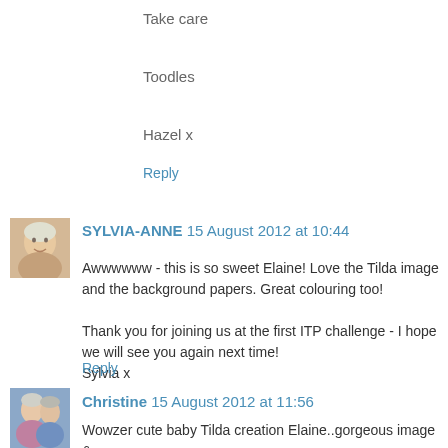Take care
Toodles
Hazel x
Reply
SYLVIA-ANNE 15 August 2012 at 10:44
Awwwwww - this is so sweet Elaine! Love the Tilda image and the background papers. Great colouring too!

Thank you for joining us at the first ITP challenge - I hope we will see you again next time!
Sylvia x
Reply
Christine 15 August 2012 at 11:56
Wowzer cute baby Tilda creation Elaine..gorgeous image & papers fab design, defo need to make more